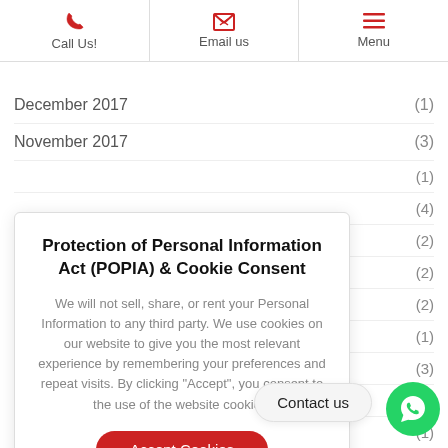Call Us! | Email us | Menu
December 2017 (1)
November 2017 (3)
(1)
(4)
(2)
(2)
(2)
(1)
(3)
(1)
(1)
(4)
Protection of Personal Information Act (POPIA) & Cookie Consent

We will not sell, share, or rent your Personal Information to any third party. We use cookies on our website to give you the most relevant experience by remembering your preferences and repeat visits. By clicking "Accept", you consent to the use of the website cookies.
Accept Cookies
Contact us